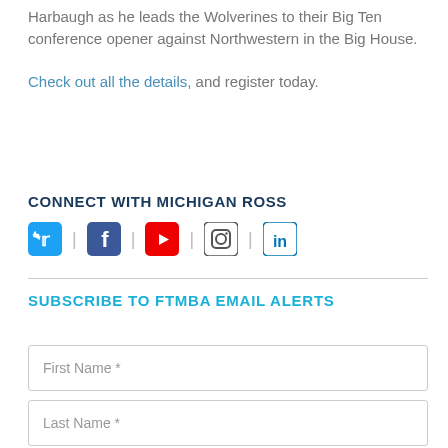Harbaugh as he leads the Wolverines to their Big Ten conference opener against Northwestern in the Big House.
Check out all the details, and register today.
CONNECT WITH MICHIGAN ROSS
[Figure (infographic): Row of social media icons: Twitter (blue bird), Facebook (blue f), YouTube (red play button), Instagram (outline camera), LinkedIn (blue in)]
SUBSCRIBE TO FTMBA EMAIL ALERTS
First Name *
Last Name *